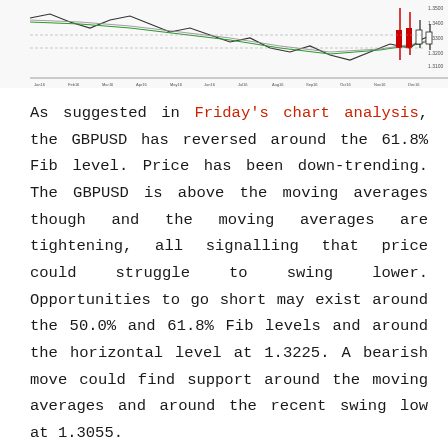[Figure (continuous-plot): GBPUSD candlestick/price chart showing recent price action with moving averages and Fibonacci levels. Chart shows a downtrend with price near the top right area of the visible chart strip.]
As suggested in Friday's chart analysis, the GBPUSD has reversed around the 61.8% Fib level. Price has been down-trending. The GBPUSD is above the moving averages though and the moving averages are tightening, all signalling that price could struggle to swing lower. Opportunities to go short may exist around the 50.0% and 61.8% Fib levels and around the horizontal level at 1.3225. A bearish move could find support around the moving averages and around the recent swing low at 1.3055.
Recent economic indicators for the UK have been positive and Brexit negotiations seem to be progressing – giving strength to the GBP. The Bank of England recently increased the base interest rate by